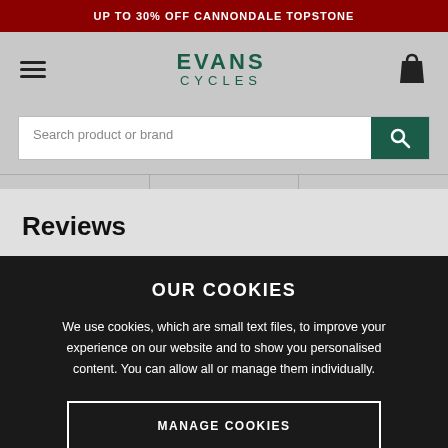UP TO 30% OFF CANNONDALE TOPSTONE
[Figure (logo): Evans Cycles logo with hamburger menu and cart icon]
Search product or brand
Reviews
OUR COOKIES
We use cookies, which are small text files, to improve your experience on our website and to show you personalised content. You can allow all or manage them individually.
MANAGE COOKIES
ALLOW ALL